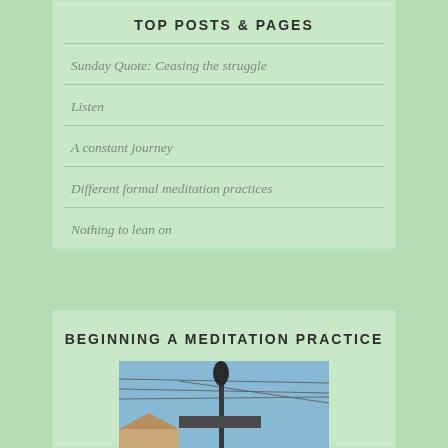TOP POSTS & PAGES
Sunday Quote: Ceasing the struggle
Listen
A constant journey
Different formal meditation practices
Nothing to lean on
BEGINNING A MEDITATION PRACTICE
[Figure (photo): Street sign pole with a decorative black finial on top, against a blue sky with power lines visible]